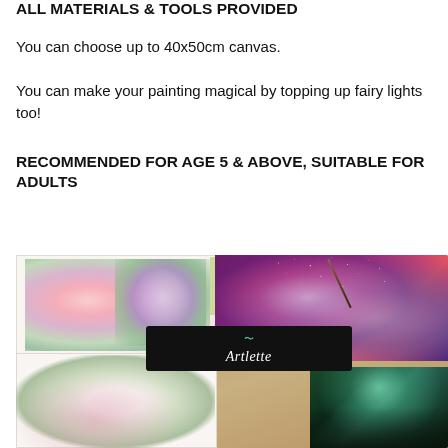ALL MATERIALS & TOOLS PROVIDED
You can choose up to 40x50cm canvas.
You can make your painting magical by topping up fairy lights too!
RECOMMENDED FOR AGE 5 & ABOVE, SUITABLE FOR ADULTS
[Figure (photo): Collage of watercolor painting examples including floral bouquets and galaxy/aurora paintings, with Artlette brand logo overlay in the center]